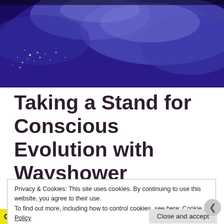[Figure (photo): Aerial/satellite night-time view of Earth from space showing blue and purple hues of clouds and city lights]
Taking a Stand for Conscious Evolution with Wayshower
Privacy & Cookies: This site uses cookies. By continuing to use this website, you agree to their use.
To find out more, including how to control cookies, see here: Cookie Policy
Close and accept
Collaborate, P2.